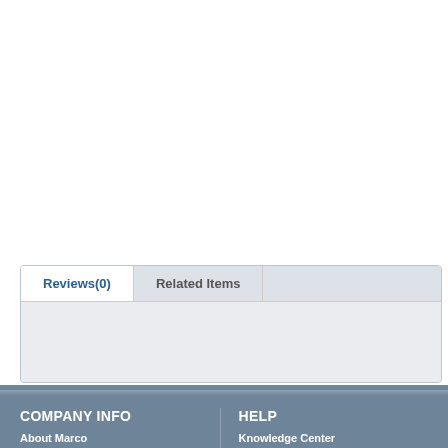38-6519-6, 38-
Reference:
39-6519-22
Weight: 0.25 oz
Reviews(0)
Related Items
COMPANY INFO
About Marco
Contact Marco
1-803-957-5500
Privacy Policy
Terms of Service
HELP
Knowledge Center
Frequently Asked Questions
Testimonials
© 2022 Marco Specialties - All Rights Reserved.